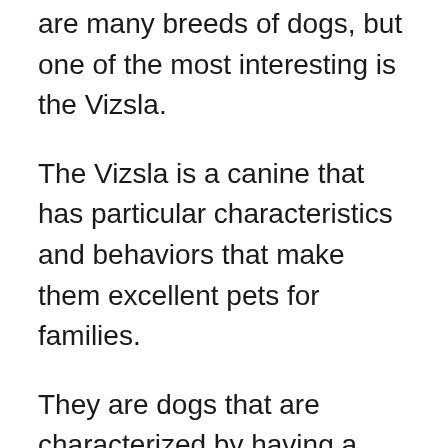are many breeds of dogs, but one of the most interesting is the Vizsla.
The Vizsla is a canine that has particular characteristics and behaviors that make them excellent pets for families.
They are dogs that are characterized by having a high level of physical activity and stand out above all for their hunting skills. In fact, they are considered excellent companions for hunters.